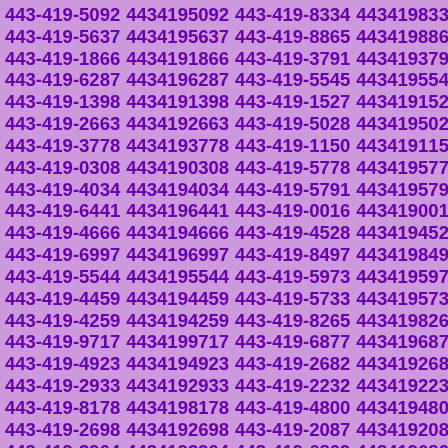| 443-419-5092 | 4434195092 | 443-419-8334 | 4434198334 |
| 443-419-5637 | 4434195637 | 443-419-8865 | 4434198865 |
| 443-419-1866 | 4434191866 | 443-419-3791 | 4434193791 |
| 443-419-6287 | 4434196287 | 443-419-5545 | 4434195545 |
| 443-419-1398 | 4434191398 | 443-419-1527 | 4434191527 |
| 443-419-2663 | 4434192663 | 443-419-5028 | 4434195028 |
| 443-419-3778 | 4434193778 | 443-419-1150 | 4434191150 |
| 443-419-0308 | 4434190308 | 443-419-5778 | 4434195778 |
| 443-419-4034 | 4434194034 | 443-419-5791 | 4434195791 |
| 443-419-6441 | 4434196441 | 443-419-0016 | 4434190016 |
| 443-419-4666 | 4434194666 | 443-419-4528 | 4434194528 |
| 443-419-6997 | 4434196997 | 443-419-8497 | 4434198497 |
| 443-419-5544 | 4434195544 | 443-419-5973 | 4434195973 |
| 443-419-4459 | 4434194459 | 443-419-5733 | 4434195733 |
| 443-419-4259 | 4434194259 | 443-419-8265 | 4434198265 |
| 443-419-9717 | 4434199717 | 443-419-6877 | 4434196877 |
| 443-419-4923 | 4434194923 | 443-419-2682 | 4434192682 |
| 443-419-2933 | 4434192933 | 443-419-2232 | 4434192232 |
| 443-419-8178 | 4434198178 | 443-419-4800 | 4434194800 |
| 443-419-2698 | 4434192698 | 443-419-2087 | 4434192087 |
| 443-419-3904 | 4434193904 | 443-419-6809 | 4434196809 |